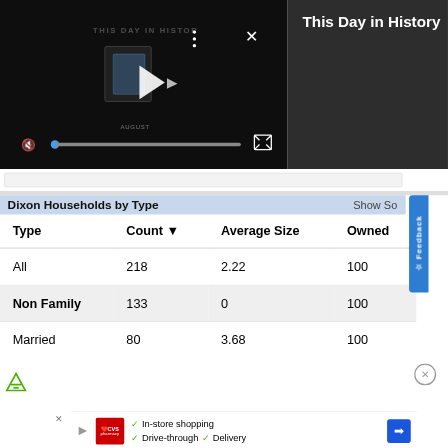[Figure (screenshot): Video player showing 'This Day in History' with playback controls, mute icon, progress bar, and fullscreen button on dark background]
This Day in History
Dixon Households by Type    Show So
| Type | Count ▼ | Average Size | Owned |
| --- | --- | --- | --- |
| All | 218 | 2.22 | 100 |
| Non Family | 133 | 0 | 100 |
| Married | 80 | 3.68 | 100 |
[Figure (screenshot): CVS pharmacy advertisement: In-store shopping, Drive-through, Delivery with navigation arrow icon]